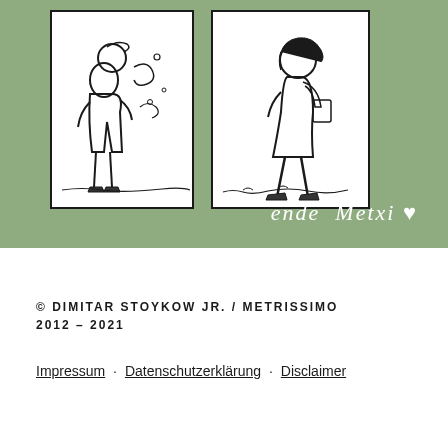[Figure (illustration): Two comic panels on a sage green background. Left panel: a child figure with swirling wind/spirit motifs. Right panel: a child walking. Below panels, white handwritten text reads 'ende Metxi ♥']
© DIMITAR STOYKOW JR. / METRISSIMO 2012 – 2021
Impressum · Datenschutzerklärung · Disclaimer